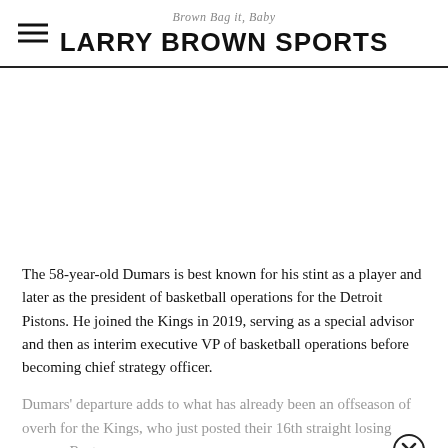Brown Bag it, Baby — LARRY BROWN SPORTS
[Figure (other): Advertisement or image placeholder (blank white space)]
The 58-year-old Dumars is best known for his stint as a player and later as the president of basketball operations for the Detroit Pistons. He joined the Kings in 2019, serving as a special advisor and then as interim executive VP of basketball operations before becoming chief strategy officer.
Dumars' departure adds to what has already been an offseason of overh for the Kings, who just posted their 16th straight losing season. Rest